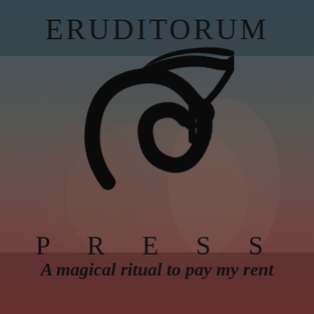[Figure (logo): Eruditorum Press logo page with background image of classical figures, teal-grey gradient top fading to reddish-brown bottom, overlaid with 'ERUDITORUM' text at top, a stylized 'EP' calligraphic logo in center, 'P R E S S' spaced text below, and italic tagline at bottom]
ERUDITORUM
P R E S S
A magical ritual to pay my rent